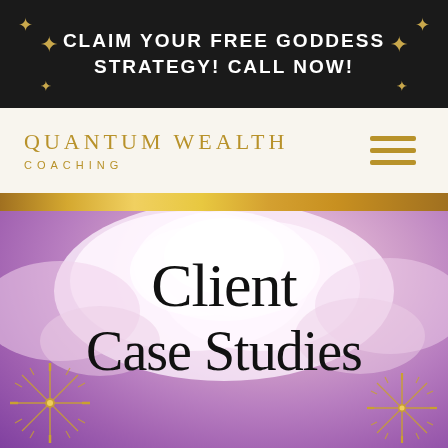CLAIM YOUR FREE GODDESS STRATEGY! CALL NOW!
[Figure (logo): Quantum Wealth Coaching logo with gold text and hamburger menu icon]
[Figure (illustration): Hero section with purple/pink cloudy sky background, gold starburst decorations in bottom corners, and large text 'Client Case Studies']
Client Case Studies